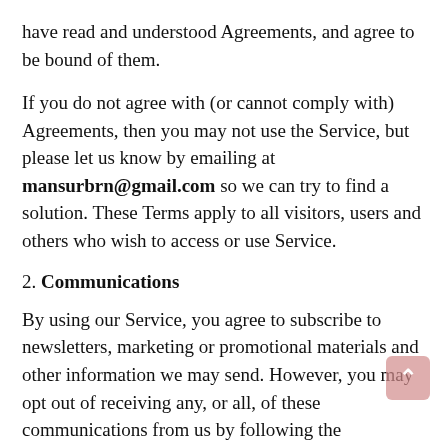have read and understood Agreements, and agree to be bound of them.
If you do not agree with (or cannot comply with) Agreements, then you may not use the Service, but please let us know by emailing at mansurbrn@gmail.com so we can try to find a solution. These Terms apply to all visitors, users and others who wish to access or use Service.
2. Communications
By using our Service, you agree to subscribe to newsletters, marketing or promotional materials and other information we may send. However, you may opt out of receiving any, or all, of these communications from us by following the unsubscribe link or by emailing